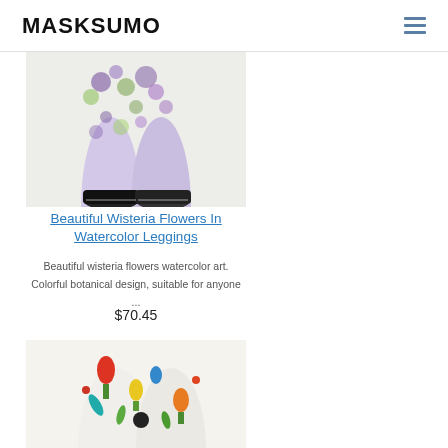MASKSUMO
[Figure (photo): Photo of wisteria flower print leggings with black sneakers on a light background]
Beautiful Wisteria Flowers In Watercolor Leggings
Beautiful wisteria flowers watercolor art. Colorful botanical design, suitable for anyone ...
$70.45
[Figure (photo): Photo of colorful floral/tulip print leggings on a white background]